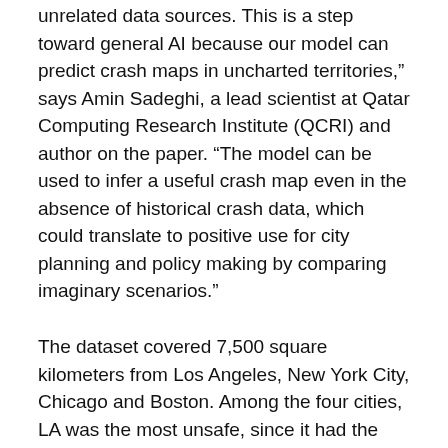unrelated data sources. This is a step toward general AI because our model can predict crash maps in uncharted territories," says Amin Sadeghi, a lead scientist at Qatar Computing Research Institute (QCRI) and author on the paper. “The model can be used to infer a useful crash map even in the absence of historical crash data, which could translate to positive use for city planning and policy making by comparing imaginary scenarios.”
The dataset covered 7,500 square kilometers from Los Angeles, New York City, Chicago and Boston. Among the four cities, LA was the most unsafe, since it had the highest crash density, followed by New York City, Chicago and Boston.
“If people can use the risk map to identify potentially high-risk road segments, they can take action in advance to reduce the risk of trips they take. Apps